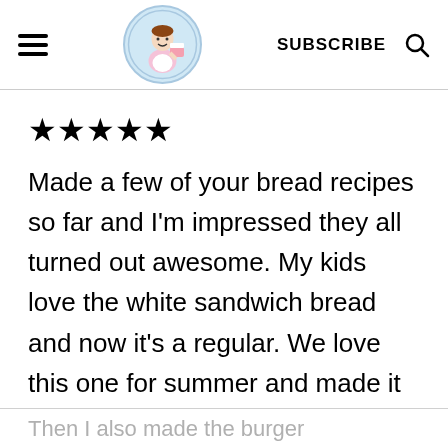SUBSCRIBE
[Figure (logo): Round logo of a baker/chef character holding a cake, with text around the circle border, light blue background]
★★★★★
Made a few of your bread recipes so far and I'm impressed they all turned out awesome. My kids love the white sandwich bread and now it's a regular. We love this one for summer and made it twice.
Then I also made the burger